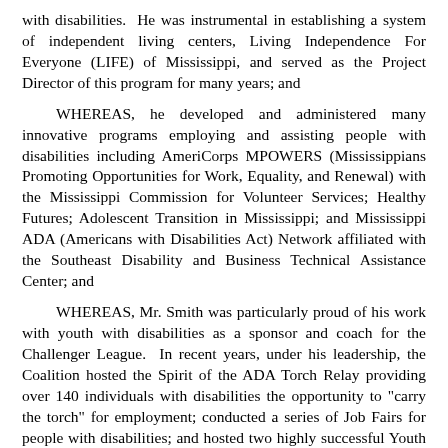with disabilities.  He was instrumental in establishing a system of independent living centers, Living Independence For Everyone (LIFE) of Mississippi, and served as the Project Director of this program for many years; and
WHEREAS, he developed and administered many innovative programs employing and assisting people with disabilities including AmeriCorps MPOWERS (Mississippians Promoting Opportunities for Work, Equality, and Renewal) with the Mississippi Commission for Volunteer Services; Healthy Futures; Adolescent Transition in Mississippi; and Mississippi ADA (Americans with Disabilities Act) Network affiliated with the Southeast Disability and Business Technical Assistance Center; and
WHEREAS, Mr. Smith was particularly proud of his work with youth with disabilities as a sponsor and coach for the Challenger League.  In recent years, under his leadership, the Coalition hosted the Spirit of the ADA Torch Relay providing over 140 individuals with disabilities the opportunity to "carry the torch" for employment; conducted a series of Job Fairs for people with disabilities; and hosted two highly successful Youth Leadership Conferences for adolescents with disabilities and their families; and
WHEREAS, he served on the National Task Force Coalition of...